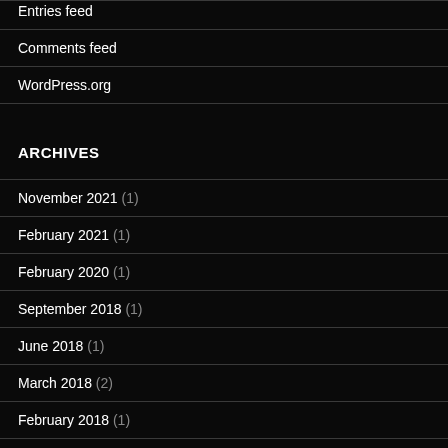Entries feed
Comments feed
WordPress.org
ARCHIVES
November 2021 (1)
February 2021 (1)
February 2020 (1)
September 2018 (1)
June 2018 (1)
March 2018 (2)
February 2018 (1)